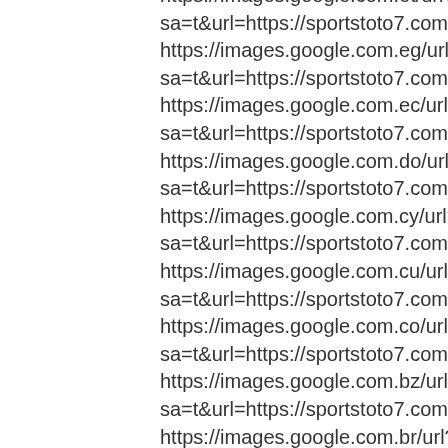https://images.google.com.et/url?sa=t&url=https://sportstoto7.com/
https://images.google.com.eg/url?sa=t&url=https://sportstoto7.com/
https://images.google.com.ec/url?sa=t&url=https://sportstoto7.com/
https://images.google.com.do/url?sa=t&url=https://sportstoto7.com/
https://images.google.com.cy/url?sa=t&url=https://sportstoto7.com/
https://images.google.com.cu/url?sa=t&url=https://sportstoto7.com/
https://images.google.com.co/url?sa=t&url=https://sportstoto7.com/
https://images.google.com.bz/url?sa=t&url=https://sportstoto7.com/
https://images.google.com.br/url?sa=t&url=https://sportstoto7.com/
https://images.google.com.bo/url?sa=t&url=https://sportstoto7.com/